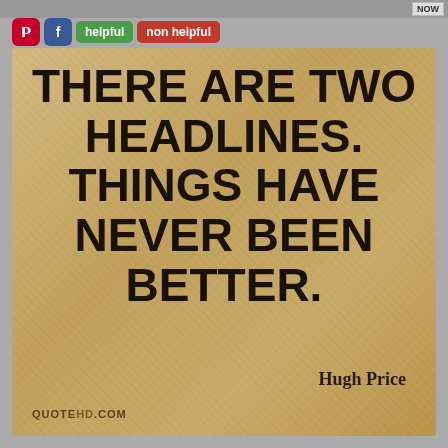[Figure (screenshot): Top navigation bar with thumbnail images and NOW button]
helpful | non helpful (social sharing buttons: Pinterest, Facebook)
[Figure (illustration): Quote card on aged/distressed tan/kraft paper background with bold text: THERE ARE TWO HEADLINES. THINGS HAVE NEVER BEEN BETTER. Attributed to Hugh Price. Source: QUOTEHD.COM]
THERE ARE TWO HEADLINES. THINGS HAVE NEVER BEEN BETTER.
Hugh Price
QUOTEHD.COM